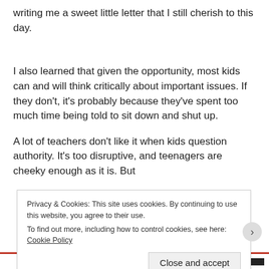writing me a sweet little letter that I still cherish to this day.
I also learned that given the opportunity, most kids can and will think critically about important issues. If they don't, it's probably because they've spent too much time being told to sit down and shut up.
A lot of teachers don't like it when kids question authority. It's too disruptive, and teenagers are cheeky enough as it is. But
Privacy & Cookies: This site uses cookies. By continuing to use this website, you agree to their use.
To find out more, including how to control cookies, see here: Cookie Policy
Close and accept